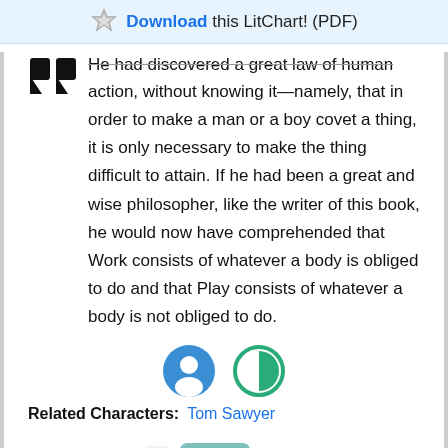Download this LitChart! (PDF)
He had discovered a great law of human action, without knowing it—namely, that in order to make a man or a boy covet a thing, it is only necessary to make the thing difficult to attain. If he had been a great and wise philosopher, like the writer of this book, he would now have comprehended that Work consists of whatever a body is obliged to do and that Play consists of whatever a body is not obliged to do.
[Figure (illustration): Two circular icons: a blue circle with a white person/head silhouette (character icon), and a green circle with a half-filled circle symbol (theme icon).]
Related Characters: Tom Sawyer
Page Number: